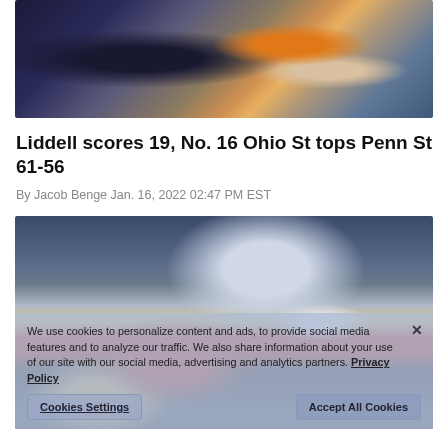[Figure (photo): Basketball game action photo showing players driving to the basket with a basketball visible, crowd in background]
Liddell scores 19, No. 16 Ohio St tops Penn St 61-56
By Jacob Benge Jan. 16, 2022 02:47 PM EST
[Figure (photo): Basketball game action photo showing player #11 in red jersey shooting over defender #21 in white, with cookie consent overlay visible]
We use cookies to personalize content and ads, to provide social media features and to analyze our traffic. We also share information about your use of our site with our social media, advertising and analytics partners. Privacy Policy
Cookies Settings    Accept All Cookies